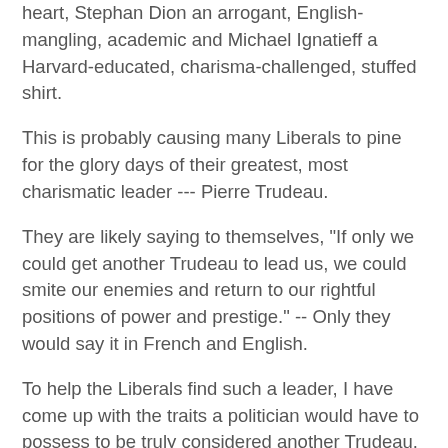heart, Stephan Dion an arrogant, English-mangling, academic and Michael Ignatieff a Harvard-educated, charisma-challenged, stuffed shirt.
This is probably causing many Liberals to pine for the glory days of their greatest, most charismatic leader --- Pierre Trudeau.
They are likely saying to themselves, "If only we could get another Trudeau to lead us, we could smite our enemies and return to our rightful positions of power and prestige." -- Only they would say it in French and English.
To help the Liberals find such a leader, I have come up with the traits a politician would have to possess to be truly considered another Trudeau.
Here they are in no particular order:
* Must be apologist for freedom-crushing totalitarian regimes.
* Must hate all things military -- especially the Canadian